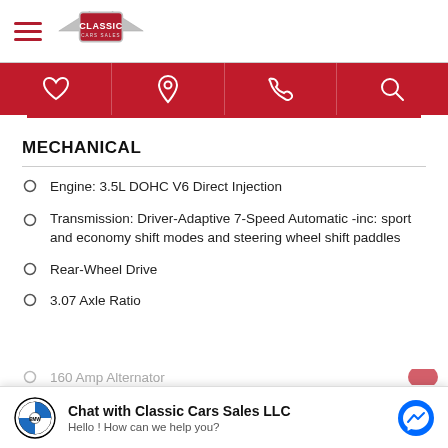Classic Cars Sales
MECHANICAL
Engine: 3.5L DOHC V6 Direct Injection
Transmission: Driver-Adaptive 7-Speed Automatic -inc: sport and economy shift modes and steering wheel shift paddles
Rear-Wheel Drive
3.07 Axle Ratio
Chat with Classic Cars Sales LLC
Hello ! How can we help you?
160 Amp Alternator